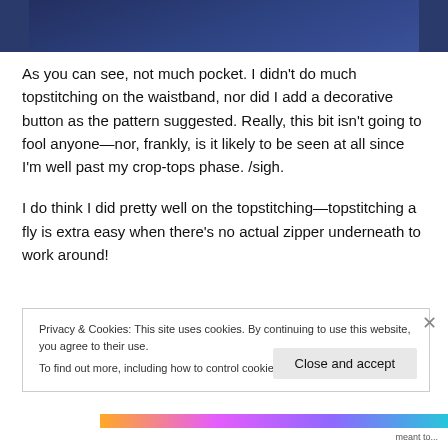[Figure (photo): Partial view of dark navy blue fabric/jeans, cropped at top of page]
As you can see, not much pocket. I didn't do much topstitching on the waistband, nor did I add a decorative button as the pattern suggested. Really, this bit isn't going to fool anyone—nor, frankly, is it likely to be seen at all since I'm well past my crop-tops phase. /sigh.
I do think I did pretty well on the topstitching—topstitching a fly is extra easy when there's no actual zipper underneath to work around!
Privacy & Cookies: This site uses cookies. By continuing to use this website, you agree to their use.
To find out more, including how to control cookies, see here: Cookie Policy
Close and accept